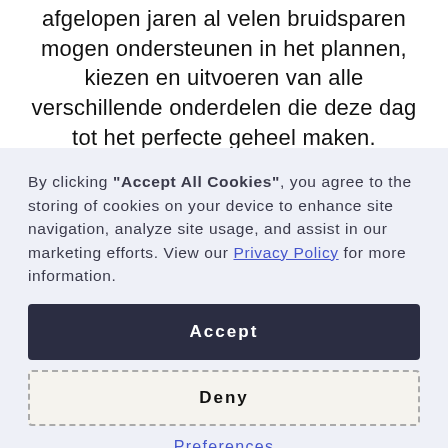afgelopen jaren al velen bruidsparen mogen ondersteunen in het plannen, kiezen en uitvoeren van alle verschillende onderdelen die deze dag tot het perfecte geheel maken.
By clicking "Accept All Cookies", you agree to the storing of cookies on your device to enhance site navigation, analyze site usage, and assist in our marketing efforts. View our Privacy Policy for more information.
Accept
Deny
Preferences